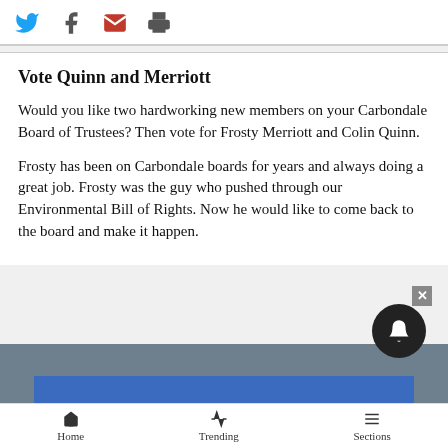[Figure (other): Social share icons: Twitter (blue bird), Facebook (f), Email (red envelope), Print (printer)]
Vote Quinn and Merriott
Would you like two hardworking new members on your Carbondale Board of Trustees? Then vote for Frosty Merriott and Colin Quinn.
Frosty has been on Carbondale boards for years and always doing a great job. Frosty was the guy who pushed through our Environmental Bill of Rights. Now he would like to come back to the board and make it happen.
Home  Trending  Sections